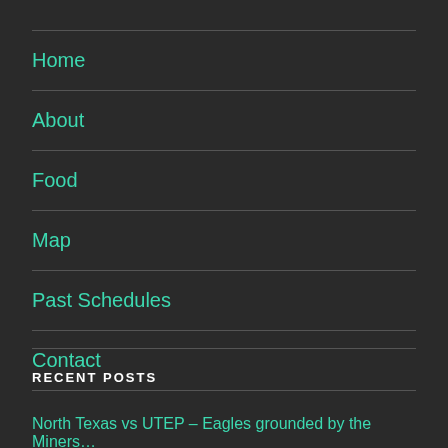Home
About
Food
Map
Past Schedules
Contact
RECENT POSTS
North Texas vs UTEP – Eagles grounded by the Miners…